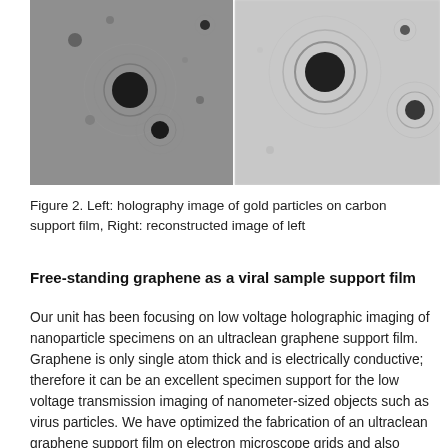[Figure (photo): Two side-by-side electron microscopy images. Left: holography image of gold particles on carbon support film showing spherical particles with diffraction rings on a grainy background. Right: reconstructed image of left showing clearer circular particles with concentric rings on a smoother background.]
Figure 2. Left: holography image of gold particles on carbon support film, Right: reconstructed image of left
Free-standing graphene as a viral sample support film
Our unit has been focusing on low voltage holographic imaging of nanoparticle specimens on an ultraclean graphene support film. Graphene is only single atom thick and is electrically conductive; therefore it can be an excellent specimen support for the low voltage transmission imaging of nanometer-sized objects such as virus particles. We have optimized the fabrication of an ultraclean graphene support film on electron microscope grids and also devised an efficient approach to enriching hydrophilic specimen particles on a hydrophobic graphene film. Fig. 3 shows the scanning transmission electron microscopy (STEM) images of unstained bacteriophage T4 recorded at 20 kV on the graphene (left) and conventional carbon (right) support films. The